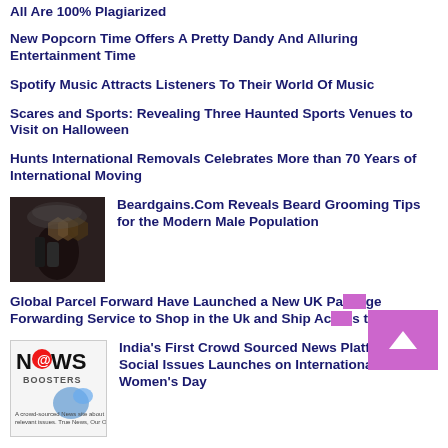All Are 100% Plagiarized
New Popcorn Time Offers A Pretty Dandy And Alluring Entertainment Time
Spotify Music Attracts Listeners To Their World Of Music
Scares and Sports: Revealing Three Haunted Sports Venues to Visit on Halloween
Hunts International Removals Celebrates More than 70 Years of International Moving
[Figure (photo): Dark product photo with beard grooming items including bottles and hexagonal shapes]
Beardgains.Com Reveals Beard Grooming Tips for the Modern Male Population
Global Parcel Forward Have Launched a New UK Package Forwarding Service to Shop in the Uk and Ship Across the Globe
[Figure (logo): NEWS BOOSTERS logo - crowd sourced news platform]
India's First Crowd Sourced News Platform for Social Issues Launches on International Women's Day